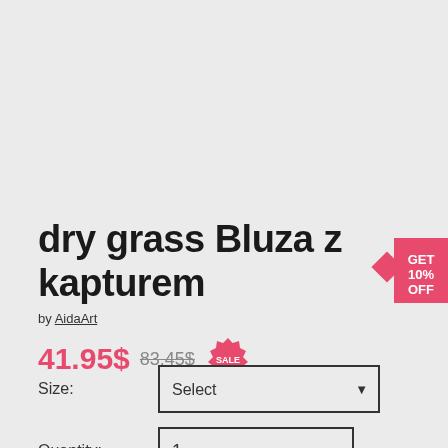dry grass Bluza z kapturem
by AidaArt
41.95$ 83.45$ SALE
Size: Select
Quantity: 1
[Figure (infographic): Pink/red promotional badge with diamond shape and text GET 10% OFF]